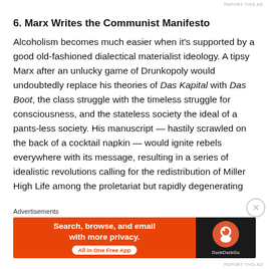REPORT THIS AD
6. Marx Writes the Communist Manifesto
Alcoholism becomes much easier when it's supported by a good old-fashioned dialectical materialist ideology. A tipsy Marx after an unlucky game of Drunkopoly would undoubtedly replace his theories of Das Kapital with Das Boot, the class struggle with the timeless struggle for consciousness, and the stateless society the ideal of a pants-less society. His manuscript — hastily scrawled on the back of a cocktail napkin — would ignite rebels everywhere with its message, resulting in a series of idealistic revolutions calling for the redistribution of Miller High Life among the proletariat but rapidly degenerating
Advertisements
[Figure (screenshot): DuckDuckGo advertisement banner: orange left panel with text 'Search, browse, and email with more privacy. All in One Free App' and dark right panel with DuckDuckGo logo and label 'DuckDuckGo']
REPORT THIS AD